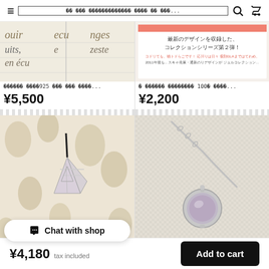≡  ꀂꀂ ꀂꀂꀂ ꀂꀀꀀꀂꀂꀂꀂꀂꀂꀂꀂꀂ ꀂꀂꀂꀂ ꀂꀂ ꀂꀂꀀ...  🔍  🛒
[Figure (photo): Top-left product: book/text page with French words visible (mouis, nuits, en écus, nges, zeste)]
ꀂꀂꀂꀂꀂꀂ ꀂꀂꀂꀂ925 ꀂꀂꀂ ꀂꀂꀂ ꀂꀂꀂꀀ...
¥5,500
[Figure (photo): Top-right product: Japanese book/pamphlet cover with text about design collection series 2nd edition]
ꀂ ꀂꀂꀂꀂꀂꀂ ꀂꀂꀂꀂꀂꀂꀂꀂ 100ꀂ ꀂꀂꀂꀀ...
¥2,200
[Figure (photo): Bottom-left product: crystal/rose quartz pendant with silver wire wrap on black cord, on floral fabric background]
ꀂꀂꀂꀂꀂꀂꀂꀂLꀂꀂꀂꀂꀂꀂꀂꀂꀂꀂꀂꀂꀂꀂꀂꀂ
[Figure (photo): Bottom-right product: silver necklace with round amethyst/purple gemstone pendant bezel set]
ꀂꀂꀂꀂꀂ silver ꀂꀂꀂꀂ ꀂꀂꀂꀂꀂꀂꀂꀂꀀ...
Chat with shop
¥4,180  tax included    Add to cart